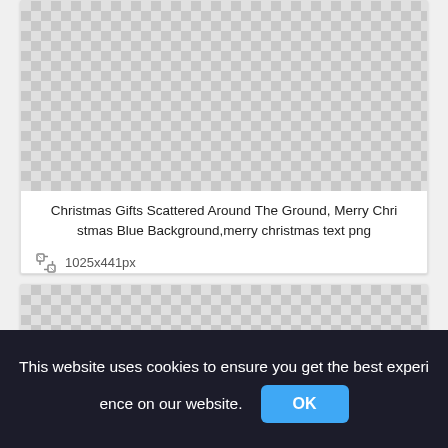[Figure (photo): Transparent/checkerboard image placeholder for Christmas Gifts image, approximately 428x190px]
Christmas Gifts Scattered Around The Ground, Merry Christmas Blue Background,merry christmas text png
1025x441px
[Figure (photo): Second transparent/checkerboard image placeholder, partially visible]
This website uses cookies to ensure you get the best experience on our website.